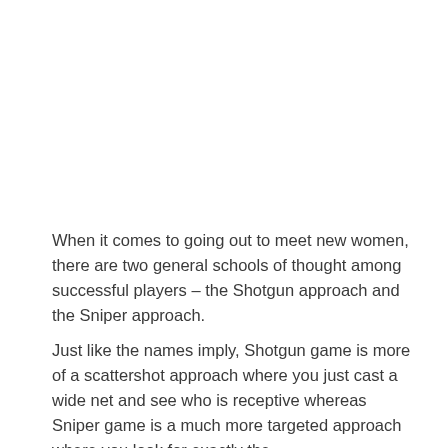When it comes to going out to meet new women, there are two general schools of thought among successful players – the Shotgun approach and the Sniper approach.
Just like the names imply, Shotgun game is more of a scattershot approach where you just cast a wide net and see who is receptive whereas Sniper game is a much more targeted approach where you look for exactly the